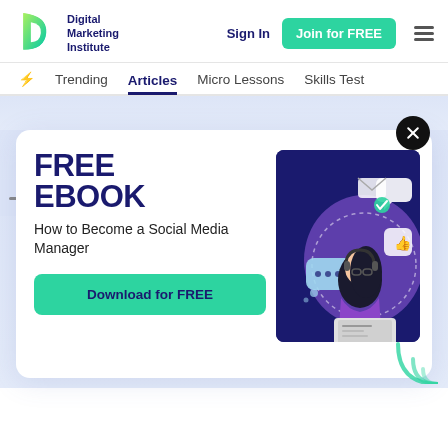[Figure (logo): Digital Marketing Institute logo - green/teal D-shaped arc]
Digital Marketing Institute
Sign In
Join for FREE
Trending  Articles  Micro Lessons  Skills Test
[Figure (illustration): FREE EBOOK promotional modal card. Text: FREE EBOOK - How to Become a Social Media Manager. Button: Download for FREE. Right side shows illustration of woman working on laptop with social media icons (chat bubbles, thumbs up, envelope) on dark navy background.]